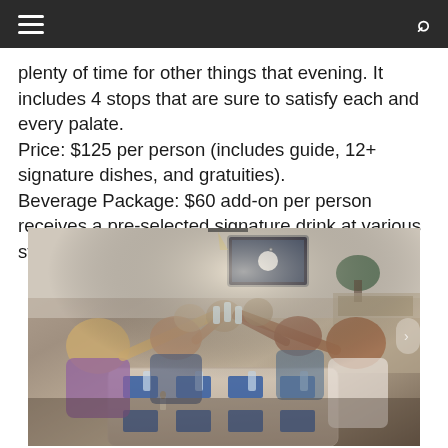≡  [menu icon]   [search icon]
plenty of time for other things that evening. It includes 4 stops that are sure to satisfy each and every palate. Price: $125 per person (includes guide, 12+ signature dishes, and gratuities). Beverage Package: $60 add-on per person receives a pre-selected signature drink at various stops.
[Figure (photo): Group of people sitting around a long restaurant table raising glasses in a toast, with blue place settings on a marble-look table surface.]